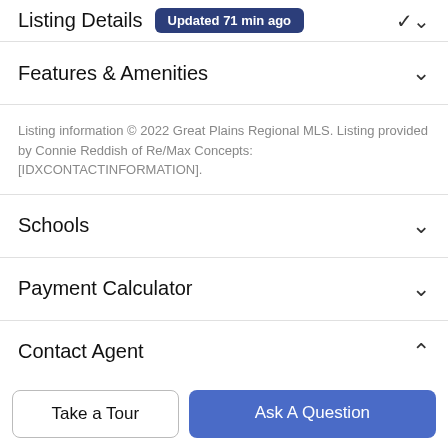Listing Details  Updated 71 min ago
Features & Amenities
Listing information © 2022 Great Plains Regional MLS. Listing provided by Connie Reddish of Re/Max Concepts: [IDXCONTACTINFORMATION].
Schools
Payment Calculator
Contact Agent
[Figure (photo): Circular agent profile photo]
Take a Tour
Ask A Question